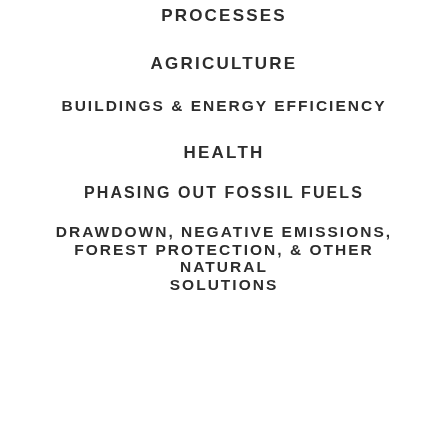PROCESSES
AGRICULTURE
BUILDINGS & ENERGY EFFICIENCY
HEALTH
PHASING OUT FOSSIL FUELS
DRAWDOWN, NEGATIVE EMISSIONS, FOREST PROTECTION, & OTHER NATURAL SOLUTIONS